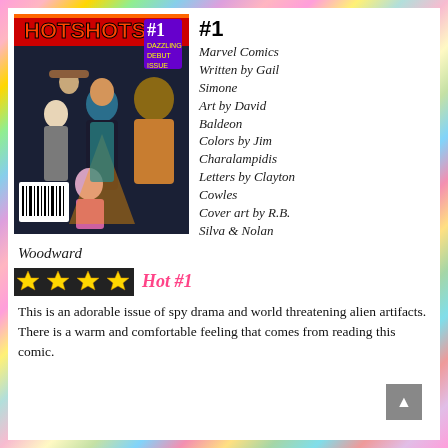[Figure (illustration): Comic book cover for Hotshots #1 by Marvel Comics, featuring spy action characters]
#1
Marvel Comics
Written by Gail Simone
Art by David Baldeon
Colors by Jim Charalampidis
Letters by Clayton Cowles
Cover art by R.B. Silva & Nolan Woodward
★★★★ Hot #1
This is an adorable issue of spy drama and world threatening alien artifacts. There is a warm and comfortable feeling that comes from reading this comic.